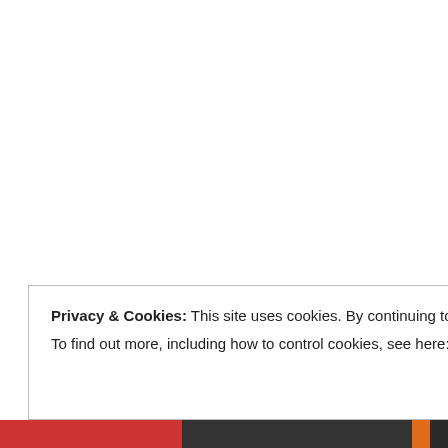it will be outweigh at heart.
★ Liked by
nannus
November
I am in m a lot of m reason to mobile p people.
It is cert old-fash compute a matter -B
Privacy & Cookies: This site uses cookies. By continuing to use this website, you agree to their use.
To find out more, including how to control cookies, see here: Cookie Policy
Close and accept